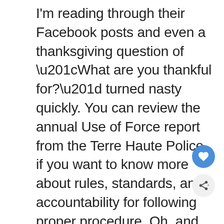I'm reading through their Facebook posts and even a thanksgiving question of “What are you thankful for?” turned nasty quickly. You can review the annual Use of Force report from the Terre Haute Police if you want to know more about rules, standards, and accountability for following proper procedure. Oh, and watch out for the guy who is hitting on just about every woman who posts on the Facebook feed. He’s relentless.